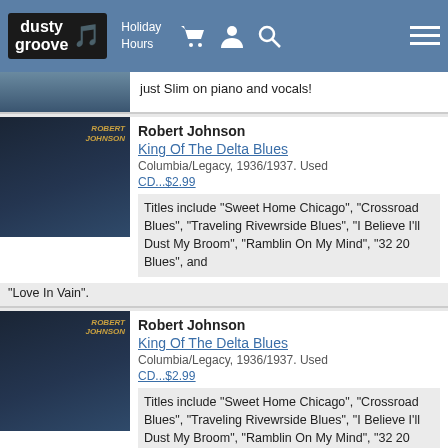dusty groove | Holiday Hours
just Slim on piano and vocals!
Robert Johnson
King Of The Delta Blues
Columbia/Legacy, 1936/1937. Used
CD...$2.99
Titles include "Sweet Home Chicago", "Crossroad Blues", "Traveling Rivewrside Blues", "I Believe I'll Dust My Broom", "Ramblin On My Mind", "32 20 Blues", and "Love In Vain".
Robert Johnson
King Of The Delta Blues
Columbia/Legacy, 1936/1937. Used
CD...$2.99
Titles include "Sweet Home Chicago", "Crossroad Blues", "Traveling Rivewrside Blues", "I Believe I'll Dust My Broom", "Ramblin On My Mind", "32 20 Blues", and "Love In Vain".
Charley Patton
Founder Of The Delta Blues
Yazoo, Late 20s/Early 30s. Used
CD...$7.99
The world-changing late 20s and 1930s recordings of